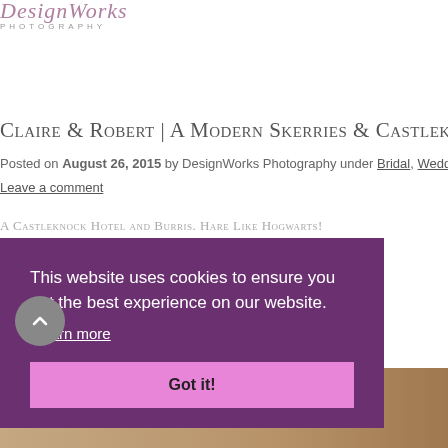[Figure (logo): DesignWorks Photography logo — cursive text 'DesignWorks' in mauve/pink above 'PHOTOGRAPHY' in small caps grey]
Claire & Robert | A Modern Skerries & Castlekn…
Posted on August 26, 2015 by DesignWorks Photography under Bridal, Wedd…
Leave a comment
A Castleknock Hotel and Burris. Hare like Hogwarts!
[Figure (photo): Partial wooden table / board surface visible at bottom right of page]
This website uses cookies to ensure you get the best experience on our website. Learn more Got it!